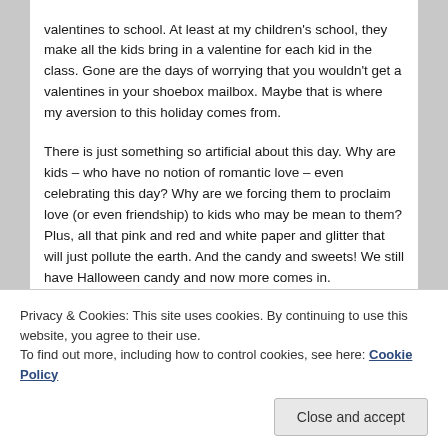valentines to school. At least at my children's school, they make all the kids bring in a valentine for each kid in the class. Gone are the days of worrying that you wouldn't get a valentines in your shoebox mailbox. Maybe that is where my aversion to this holiday comes from.
There is just something so artificial about this day. Why are kids – who have no notion of romantic love – even celebrating this day? Why are we forcing them to proclaim love (or even friendship) to kids who may be mean to them? Plus, all that pink and red and white paper and glitter that will just pollute the earth. And the candy and sweets! We still have Halloween candy and now more comes in.
Privacy & Cookies: This site uses cookies. By continuing to use this website, you agree to their use.
To find out more, including how to control cookies, see here: Cookie Policy